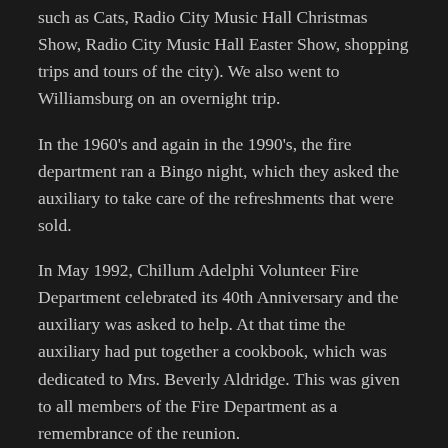such as Cats, Radio City Music Hall Christmas Show, Radio City Music Hall Easter Show, shopping trips and tours of the city). We also went to Williamsburg on an overnight trip.
In the 1960's and again in the 1990's, the fire department ran a Bingo night, which they asked the auxiliary to take care of the refreshments that were sold.
In May 1992, Chillum Adelphi Volunteer Fire Department celebrated its 40th Anniversary and the auxiliary was asked to help. At that time the auxiliary had put together a cookbook, which was dedicated to Mrs. Beverly Aldridge. This was given to all members of the Fire Department as a remembrance of the reunion.
Since joining the County and State Auxiliaries, our